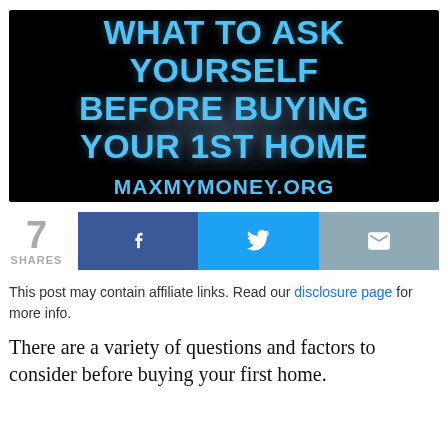[Figure (illustration): Dark background promotional image with bold blue text reading 'WHAT TO ASK YOURSELF BEFORE BUYING YOUR 1ST HOME' and website URL 'MAXMYMONEY.ORG' below]
7 SHARES
[Figure (infographic): Social share buttons row: Facebook (f icon, dark blue), Twitter (bird icon, light blue), Email (envelope icon, grey-blue)]
This post may contain affiliate links. Read our disclosure page for more info.
There are a variety of questions and factors to consider before buying your first home.